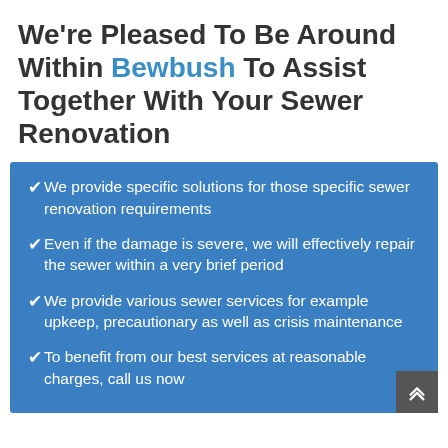We're Pleased To Be Around Within Bewbush To Assist Together With Your Sewer Renovation
We provide specific solutions for those specific sewer renovation requirements
Even if the damage is severe, we will effectively repair the sewer within a very brief period
We provide various sewer services for example upkeep, precautionary as well as crisis maintenance
To benefit from our best services at reasonable charges, call us now